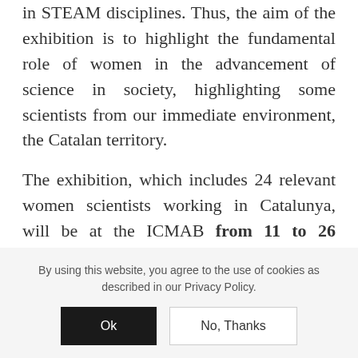in STEAM disciplines. Thus, the aim of the exhibition is to highlight the fundamental role of women in the advancement of science in society, highlighting some scientists from our immediate environment, the Catalan territory.
The exhibition, which includes 24 relevant women scientists working in Catalunya, will be at the ICMAB from 11 to 26 January 2020 (2nd floor), and open to everyone willing to visit it. You will find, for example, Gemma Marfany
By using this website, you agree to the use of cookies as described in our Privacy Policy.